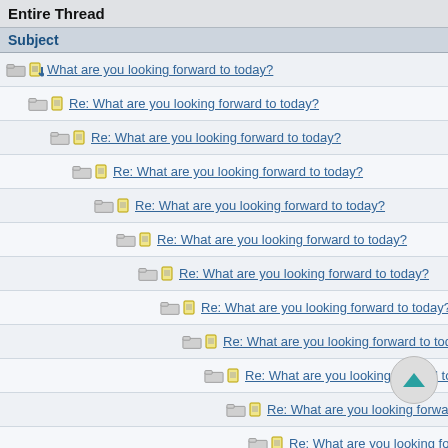Entire Thread
Subject
What are you looking forward to today?
Re: What are you looking forward to today?
Re: What are you looking forward to today?
Re: What are you looking forward to today?
Re: What are you looking forward to today?
Re: What are you looking forward to today?
Re: What are you looking forward to today?
Re: What are you looking forward to today?
Re: What are you looking forward to today?
Re: What are you looking forward to today?
Re: What are you looking forward to today?
Re: What are you looking forward to today?
Re: What are you looking forward to today?
Re: What are you looking forward to today?
Re: What are you looking forward to today?
Re: What are you looking forwa